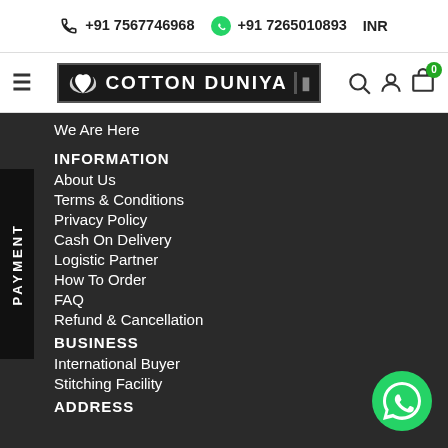+91 7567746968   +91 7265010893   INR
[Figure (logo): Cotton Duniya logo with lotus flower icon on dark background with navigation icons (search, user, cart with 0 badge)]
We Are Here
INFORMATION
About Us
Terms & Conditions
Privacy Policy
Cash On Delivery
Logistic Partner
How To Order
FAQ
Refund & Cancellation
BUSINESS
International Buyer
Stitching Facility
ADDRESS